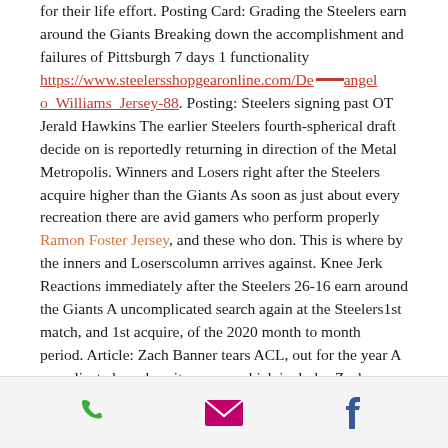for their life effort. Posting Card: Grading the Steelers earn around the Giants  Breaking down the accomplishment and failures of Pittsburgh 7 days 1  functionality https://www.steelersshopgearonline.com/Deangelo_Williams_Jersey-88.  Posting: Steelers signing past OT Jerald Hawkins The earlier Steelers fourth-spherical draft decide on is reportedly returning in direction of the  Metal Metropolis. Winners and Losers right after the Steelers acquire higher  than the Giants As soon as just about every recreation there are avid gamers who perform properly Ramon  Foster Jersey, and these who don. This is where by the inners and Loserscolumn arrives against. Knee Jerk Reactions immediately after the Steelers  26-16 earn around the Giants A uncomplicated search again at the Steelers1st  match, and 1st acquire, of the 2020 month to month period. Article: Zach Banner  tears ACL, out for the year A complicated crack as it appears which includes  Zach Banner
phone | email | facebook